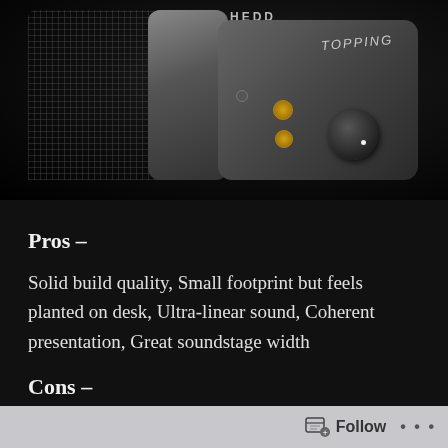[Figure (photo): Close-up photo of HEDD headphones resting next to a Topping audio amplifier/DAC device on a dark background. Gold-plated jack connectors and a volume knob are visible on the Topping device.]
Pros –
Solid build quality, Small footprint but feels planted on desk, Ultra-linear sound, Coherent presentation, Great soundstage width
Cons –
Follow ...